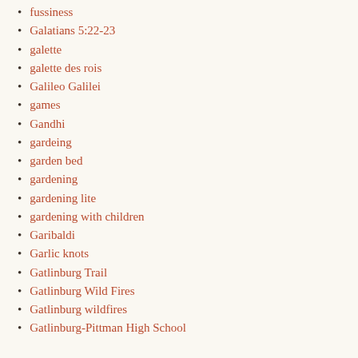fussiness
Galatians 5:22-23
galette
galette des rois
Galileo Galilei
games
Gandhi
gardeing
garden bed
gardening
gardening lite
gardening with children
Garibaldi
Garlic knots
Gatlinburg Trail
Gatlinburg Wild Fires
Gatlinburg wildfires
Gatlinburg-Pittman High School